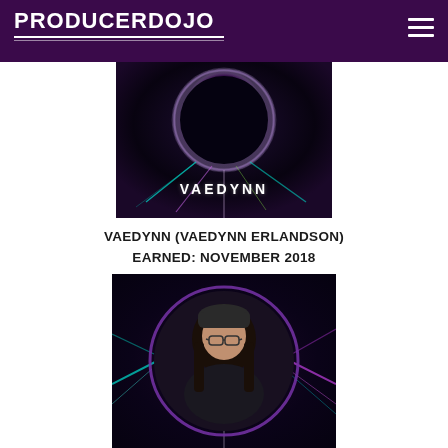PRODUCERDOJO
[Figure (photo): VAEDYNN artist banner with dark tunnel/eclipse effect and VAEDYNN logo text in white]
VAEDYNN (VAEDYNN ERLANDSON)
EARNED: NOVEMBER 2018
[Figure (photo): Portrait of a person wearing glasses and dark hoodie, circular framing with purple and cyan light ray effects on dark background]